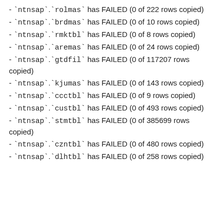- `ntnsap`.`rolmas` has FAILED (0 of 222 rows copied)
- `ntnsap`.`brdmas` has FAILED (0 of 10 rows copied)
- `ntnsap`.`rmktbl` has FAILED (0 of 8 rows copied)
- `ntnsap`.`aremas` has FAILED (0 of 24 rows copied)
- `ntnsap`.`gtdfil` has FAILED (0 of 117207 rows copied)
- `ntnsap`.`kjumas` has FAILED (0 of 143 rows copied)
- `ntnsap`.`ccctbl` has FAILED (0 of 9 rows copied)
- `ntnsap`.`custbl` has FAILED (0 of 493 rows copied)
- `ntnsap`.`stmtbl` has FAILED (0 of 385699 rows copied)
- `ntnsap`.`czntbl` has FAILED (0 of 480 rows copied)
- `ntnsap`.`dlhtbl` has FAILED (0 of 258 rows copied)